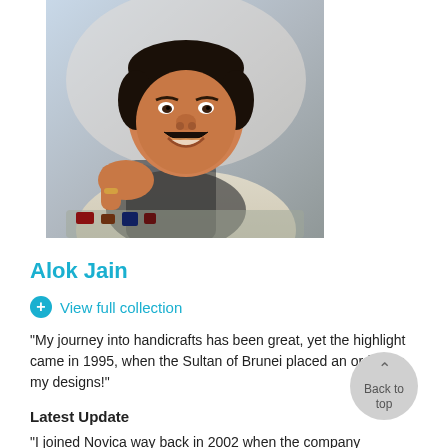[Figure (photo): Portrait photo of Alok Jain, a smiling man with a mustache wearing a light-colored outfit with a patterned scarf, leaning over what appears to be a display of small items or jewelry.]
Alok Jain
View full collection
"My journey into handicrafts has been great, yet the highlight came in 1995, when the Sultan of Brunei placed an order for my designs!"
Latest Update
"I joined Novica way back in 2002 when the company